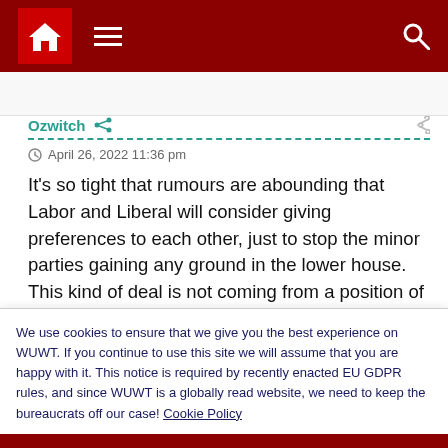Navigation bar with home, menu, and search icons
Ozwitch   April 26, 2022 11:36 pm
It's so tight that rumours are abounding that Labor and Liberal will consider giving preferences to each other, just to stop the minor parties gaining any ground in the lower house. This kind of deal is not coming from a position of strength. Topher Field has obligingly given anyone who cares a count-
We use cookies to ensure that we give you the best experience on WUWT. If you continue to use this site we will assume that you are happy with it. This notice is required by recently enacted EU GDPR rules, and since WUWT is a globally read website, we need to keep the bureaucrats off our case! Cookie Policy
Close and accept